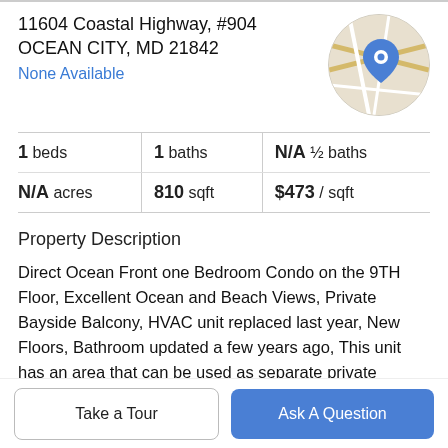11604 Coastal Highway, #904
OCEAN CITY, MD 21842
None Available
[Figure (map): Circular map thumbnail with blue location pin marker, road map background in beige and white]
| 1 beds | 1 baths | N/A ½ baths |
| N/A acres | 810 sqft | $473 / sqft |
Property Description
Direct Ocean Front one Bedroom Condo on the 9TH Floor, Excellent Ocean and Beach Views, Private Bayside Balcony, HVAC unit replaced last year, New Floors, Bathroom updated a few years ago, This unit has an area that can be used as separate private sleeping area. Large